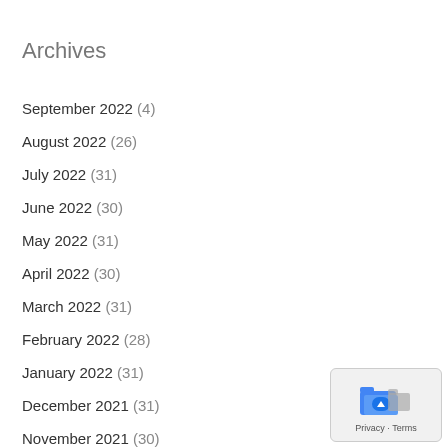Archives
September 2022 (4)
August 2022 (26)
July 2022 (31)
June 2022 (30)
May 2022 (31)
April 2022 (30)
March 2022 (31)
February 2022 (28)
January 2022 (31)
December 2021 (31)
November 2021 (30)
[Figure (logo): Google privacy widget with blue folder icon and Privacy/Terms links]